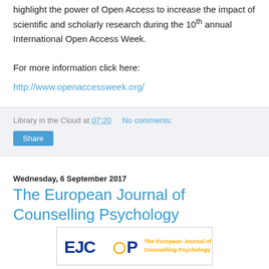highlight the power of Open Access to increase the impact of scientific and scholarly research during the 10th annual International Open Access Week.
For more information click here:
http://www.openaccessweek.org/
Library in the Cloud at 07:20   No comments:
Share
Wednesday, 6 September 2017
The European Journal of Counselling Psychology
[Figure (logo): EJCP logo — The European Journal of Counselling Psychology, with blue bold text 'EJCP' and a small orange circle, and orange text 'The European Journal of Counselling Psychology']